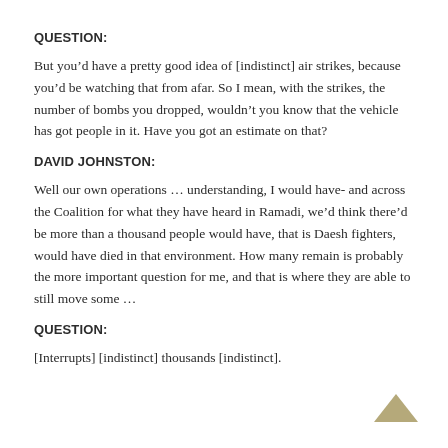QUESTION:
But you’d have a pretty good idea of [indistinct] air strikes, because you’d be watching that from afar. So I mean, with the strikes, the number of bombs you dropped, wouldn’t you know that the vehicle has got people in it. Have you got an estimate on that?
DAVID JOHNSTON:
Well our own operations … understanding, I would have- and across the Coalition for what they have heard in Ramadi, we’d think there’d be more than a thousand people would have, that is Daesh fighters, would have died in that environment. How many remain is probably the more important question for me, and that is where they are able to still move some …
QUESTION:
[Interrupts] [indistinct] thousands [indistinct].